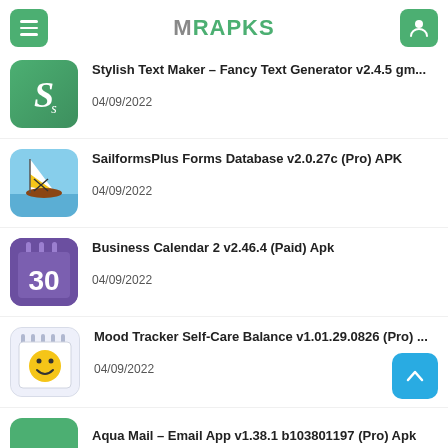MRAPKS
Stylish Text Maker – Fancy Text Generator v2.4.5 gm... 04/09/2022
SailformsPlus Forms Database v2.0.27c (Pro) APK 04/09/2022
Business Calendar 2 v2.46.4 (Paid) Apk 04/09/2022
Mood Tracker Self-Care Balance v1.01.29.0826 (Pro) ... 04/09/2022
Aqua Mail – Email App v1.38.1 b103801197 (Pro) Apk